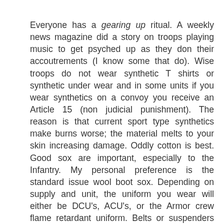Everyone has a gearing up ritual. A weekly news magazine did a story on troops playing music to get psyched up as they don their accoutrements (I know some that do). Wise troops do not wear synthetic T shirts or synthetic under wear and in some units if you wear synthetics on a convoy you receive an Article 15 (non judicial punishment). The reason is that current sport type synthetics make burns worse; the material melts to your skin increasing damage. Oddly cotton is best. Good sox are important, especially to the Infantry. My personal preference is the standard issue wool boot sox. Depending on supply and unit, the uniform you wear will either be DCU's, ACU's, or the Armor crew flame retardant uniform. Belts or suspenders hold up the pants. Riggers belts